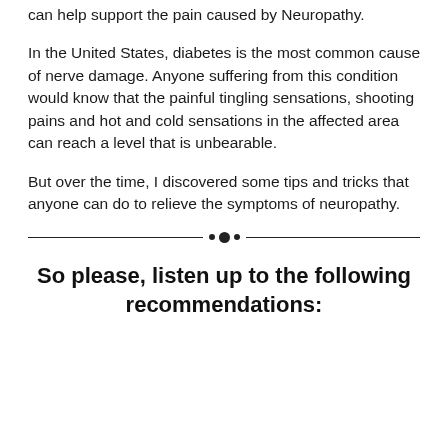can help support the pain caused by Neuropathy.
In the United States, diabetes is the most common cause of nerve damage. Anyone suffering from this condition would know that the painful tingling sensations, shooting pains and hot and cold sensations in the affected area can reach a level that is unbearable.
But over the time, I discovered some tips and tricks that anyone can do to relieve the symptoms of neuropathy.
So please, listen up to the following recommendations: